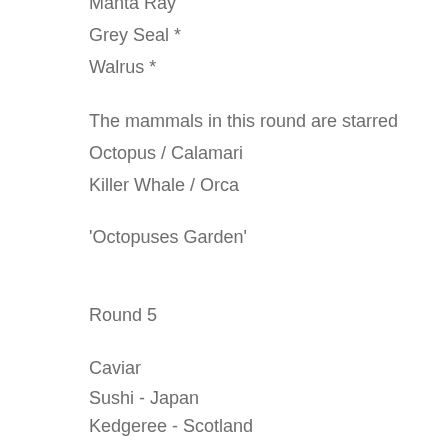Manta Ray
Grey Seal *
Walrus *
The mammals in this round are starred
Octopus / Calamari
Killer Whale / Orca
'Octopuses Garden'
Round 5
Caviar
Sushi - Japan
Kedgeree - Scotland
Lobster Thermidor
Kippers
Laver Bread - Wales